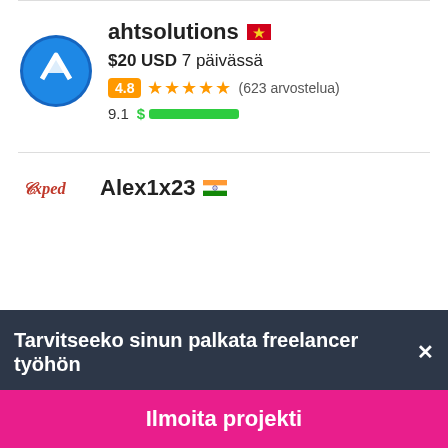[Figure (logo): ahtsolutions profile avatar: blue circle with white arrow/mountain logo]
ahtsolutions 🇻🇳
$20 USD 7 päivässä
4.8 ★★★★★ (623 arvostelua)
9.1 $ ▓▓▓▓▓▓▓▓▓▓
[Figure (logo): Exped/expert logo for Alex1x23]
Alex1x23 🇮🇳
Tarvitseeko sinun palkata freelancer työhön✕
Ilmoita projekti